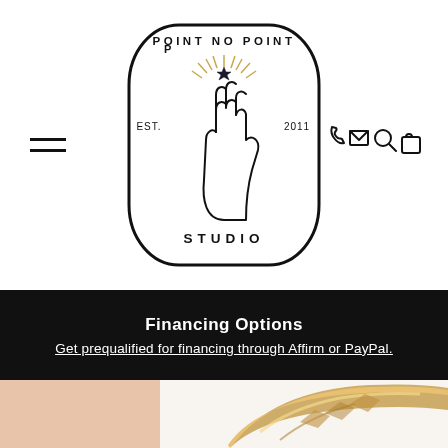[Figure (logo): Point No Point Studio logo: oval border with a hand pointing upward, decorative star/sun rays, text reading POINT NO POINT around the top, EST. 2011 on the sides, STUDIO at the bottom.]
[Figure (illustration): Navigation icons on the right: phone, envelope/mail, magnifying glass/search, shopping bag.]
Financing Options
Get prequalified for financing through Affirm or PayPal.
[Figure (photo): Close-up photo of a gold hammered ring band on a finger, showing the textured faceted surface of the ring against a light background.]